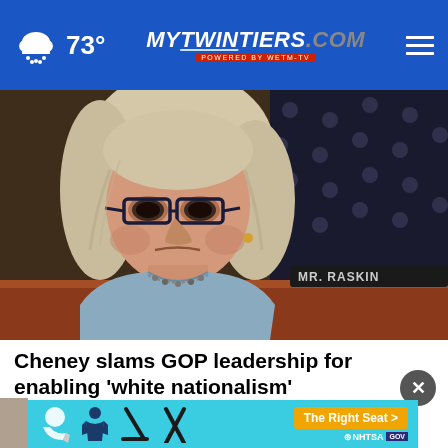73° mytwintiers.com
[Figure (photo): Woman with blonde hair and dark-rimmed glasses seated at a congressional hearing desk, looking serious. A nameplate reads 'MR. RASKIN' in the background. She is wearing a light blue blazer with a beaded necklace. An American flag with stars is visible in the background.]
Cheney slams GOP leadership for enabling 'white nationalism' following Buffalo shooting
[Figure (infographic): NHTSA 'The Right Seat' car seat safety advertisement banner on a light blue background with car seat icons.]